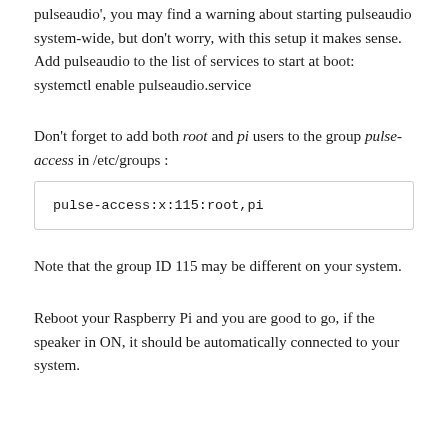pulseaudio', you may find a warning about starting pulseaudio system-wide, but don't worry, with this setup it makes sense.
Add pulseaudio to the list of services to start at boot: systemctl enable pulseaudio.service
Don't forget to add both root and pi users to the group pulse-access in /etc/groups :
pulse-access:x:115:root,pi
Note that the group ID 115 may be different on your system.
Reboot your Raspberry Pi and you are good to go, if the speaker in ON, it should be automatically connected to your system.